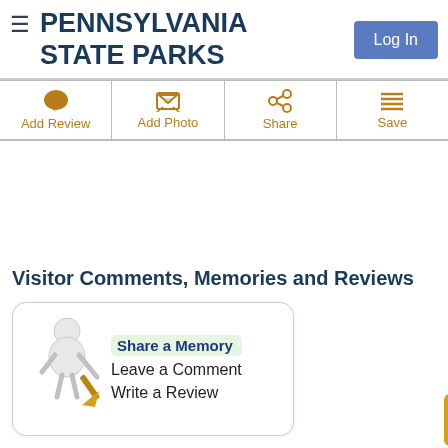PENNSYLVANIA STATE PARKS
Add Review
Add Photo
Share
Save
Visitor Comments, Memories and Reviews
[Figure (illustration): A 3D figure of a person writing with a large pen/quill, used as an icon for sharing memories.]
Share a Memory
Leave a Comment
Write a Review